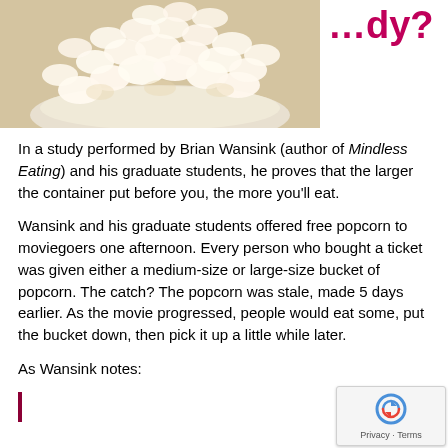[Figure (photo): A white bowl filled with popcorn, photographed from above at an angle, on a light wooden surface.]
...dy?
In a study performed by Brian Wansink (author of Mindless Eating) and his graduate students, he proves that the larger the container put before you, the more you'll eat.
Wansink and his graduate students offered free popcorn to moviegoers one afternoon. Every person who bought a ticket was given either a medium-size or large-size bucket of popcorn. The catch? The popcorn was stale, made 5 days earlier. As the movie progressed, people would eat some, put the bucket down, then pick it up a little while later.
As Wansink notes: